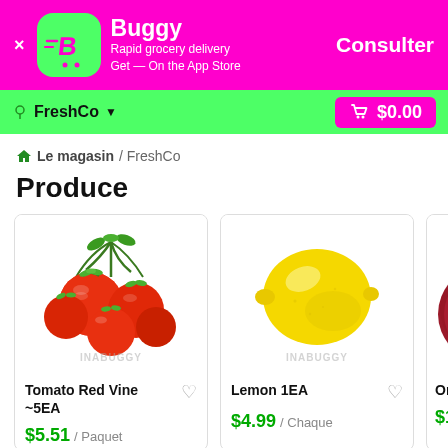[Figure (screenshot): Buggy app promotional banner with app icon, name 'Buggy', tagline 'Rapid grocery delivery / Get — On the App Store', and 'Consulter' button on magenta/pink background]
[Figure (screenshot): Navigation bar with store selector showing 'FreshCo' and cart showing '$0.00' on green background]
Le magasin / FreshCo
Produce
[Figure (photo): Tomato Red Vine cluster product image with INABUGGY watermark]
Tomato Red Vine ~5EA
$5.51 / Paquet
[Figure (photo): Lemon 1EA product image with INABUGGY watermark]
Lemon 1EA
$4.99 / Chaque
[Figure (photo): Onion Red product image (partially visible) with INABUGGY watermark]
Onion Red...
$1.80 / C